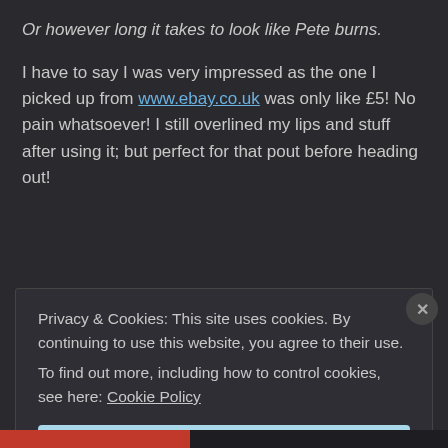Or however long it takes to look like Pete burns.
I have to say I was very impressed as the one I picked up from www.ebay.co.uk was only like £5! No pain whatsoever! I still overlined my lips and stuff after using it; but perfect for that pout before heading out!
Privacy & Cookies: This site uses cookies. By continuing to use this website, you agree to their use.
To find out more, including how to control cookies, see here: Cookie Policy
Close and accept